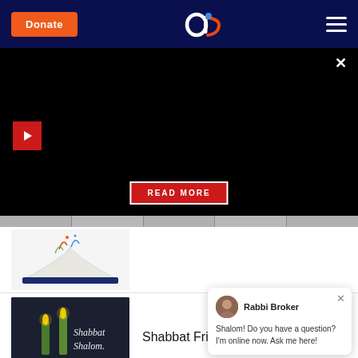Donate | Aish logo | Menu
[Figure (screenshot): Black hero area with video play button, close X, and READ MORE button overlay]
[Figure (photo): Open book illustration with colorful flourishes]
[Figure (photo): Shabbat Shalom candles image with text Shabbat Shalom]
Shabbat Friday Night Guide
[Figure (photo): Shabbat banner image]
Shabbat Challenges
Rabbi Broker
Shalom! Do you have a question? I'm online now. Ask me here!